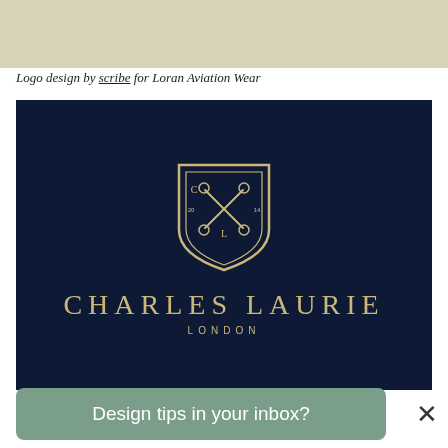[Figure (illustration): Beige/tan background strip at top, cropped from a larger image]
Logo design by scribe for Loran Aviation Wear
[Figure (logo): Charles Laurie London logo on dark navy background. Heraldic shield with crossed scissors, letters C and L, flanked by year numbers. Text 'CHARLES LAURIE' in gold serif letters and 'LONDON' in gold small caps below.]
Design tips in your inbox?